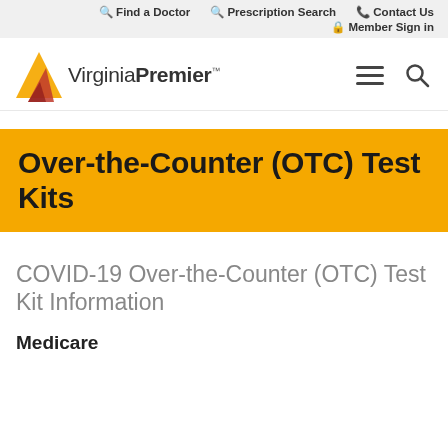🔍 Find a Doctor  🔍 Prescription Search  📞 Contact Us  🔒 Member Sign in
[Figure (logo): Virginia Premier logo with red and orange triangle/flame icon and text 'Virginia Premier' with TM mark, plus hamburger menu and search icons]
Over-the-Counter (OTC) Test Kits
COVID-19 Over-the-Counter (OTC) Test Kit Information
Medicare